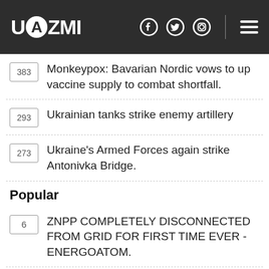UAZMI
383 Monkeypox: Bavarian Nordic vows to up vaccine supply to combat shortfall.
293 Ukrainian tanks strike enemy artillery
273 Ukraine's Armed Forces again strike Antonivka Bridge.
Popular
6 ZNPP COMPLETELY DISCONNECTED FROM GRID FOR FIRST TIME EVER - ENERGOATOM.
4 IAEA Says Kyiv, Moscow 'Very Close' To Deal To Inspect Zaporizhzhya Nuclear Plant.
UNICEF provides Ukraine with 100,000...